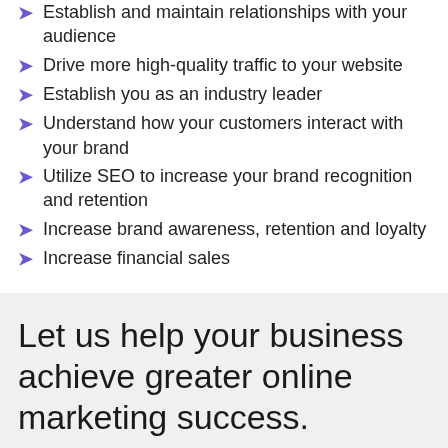Establish and maintain relationships with your audience
Drive more high-quality traffic to your website
Establish you as an industry leader
Understand how your customers interact with your brand
Utilize SEO to increase your brand recognition and retention
Increase brand awareness, retention and loyalty
Increase financial sales
Let us help your business achieve greater online marketing success.
If you're looking for SEO service, we look forward to